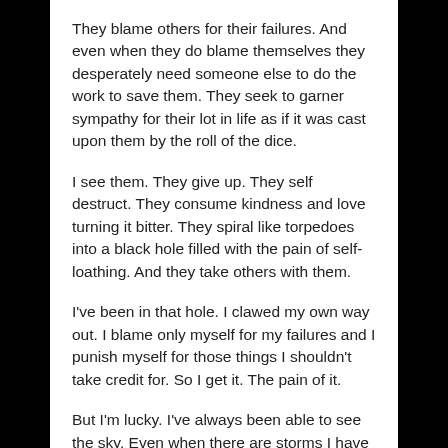They blame others for their failures. And even when they do blame themselves they desperately need someone else to do the work to save them. They seek to garner sympathy for their lot in life as if it was cast upon them by the roll of the dice.
I see them. They give up. They self destruct. They consume kindness and love turning it bitter. They spiral like torpedoes into a black hole filled with the pain of self-loathing. And they take others with them.
I've been in that hole. I clawed my own way out. I blame only myself for my failures and I punish myself for those things I shouldn't take credit for. So I get it. The pain of it.
But I'm lucky. I've always been able to see the sky. Even when there are storms I have faith the sky is there. I know I will see the sun rise again. Not everyone can imagine that.